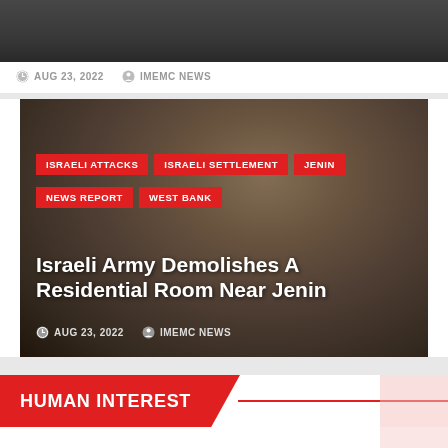[Figure (photo): Top news card image strip - dark background photo]
AUG 23, 2022   IMEMC NEWS
[Figure (photo): News article image - debris from demolished residential room near Jenin]
ISRAELI ATTACKS
ISRAELI SETTLEMENT
JENIN
NEWS REPORT
WEST BANK
Israeli Army Demolishes A Residential Room Near Jenin
AUG 23, 2022   IMEMC NEWS
HUMAN INTEREST